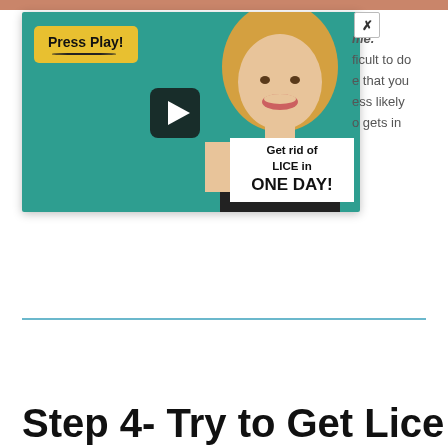[Figure (screenshot): Video thumbnail showing a smiling blonde woman on teal background holding a sign that reads 'Get rid of LICE in ONE DAY!' with a 'Press Play!' yellow badge and dark play button overlay. An X close button is visible in the top right.]
me. ficult to do e that you ess likely o gets in
Step 4- Try to Get Lice